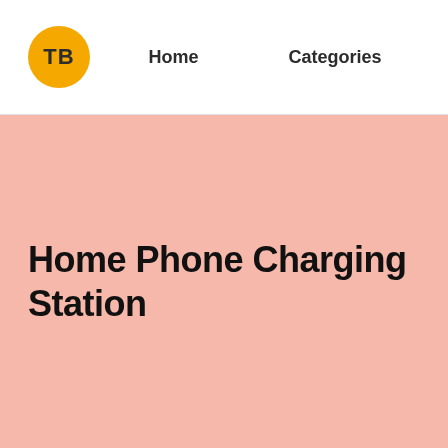TB  Home  Categories
Home Phone Charging Station